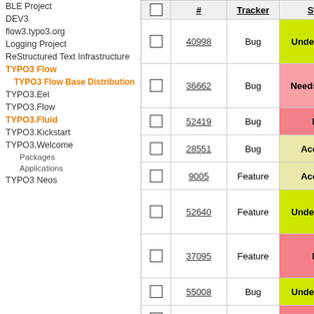BLE Project
DEV3
flow3.typo3.org
Logging Project
ReStructured Text Infrastructure
TYPO3 Flow
TYPO3 Flow Base Distribution
TYPO3.Eel
TYPO3.Flow
TYPO3.Fluid
TYPO3.Kickstart
TYPO3.Welcome
Packages
Applications
TYPO3 Neos
|  | # | Tracker | Status |
| --- | --- | --- | --- |
| ☐ | 40998 | Bug | Under Review |
| ☐ | 36662 | Bug | Needs Feedback |
| ☐ | 52419 | Bug | New |
| ☐ | 28551 | Bug | Accepted |
| ☐ | 9005 | Feature | Accepted |
| ☐ | 52640 | Feature | Under Review |
| ☐ | 37095 | Feature | New |
| ☐ | 55008 | Bug | Under Review |
| ☐ | 60271 | Feature | New |
| ☐ | 58003 | Bug | New |